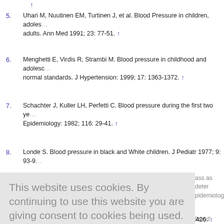↑ (superscript arrow at top)
5. Uhari M, Nuutinen EM, Turtinen J, et al. Blood Pressure in children, adolescents and adults. Ann Med 1991; 23: 77-51. ↑
6. Menghetti E, Virdis R, Strambi M. Blood pressure in childhood and adolescence: normal standards. J Hypertension: 1999; 17: 1363-1372. ↑
7. Schachter J, Kuller LH, Perfetti C. Blood pressure during the first two years. Epidemiology: 1982; 116: 29-41. ↑
8. Londe S. Blood pressure in black and White children. J Pediatr 1977; 9: 93-9...
This website uses cookies. By continuing to use this website you are giving consent to cookies being used. For information on cookies and how you can disable them visit our
Privacy and Cookie Policy.
AGREE & PROCEED
schoolchildren in northwest India. Am J Epidemiol 1991; 134: 1417-1426. ↑